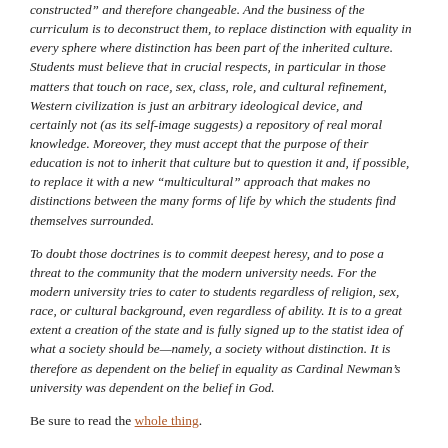constructed” and therefore changeable. And the business of the curriculum is to deconstruct them, to replace distinction with equality in every sphere where distinction has been part of the inherited culture. Students must believe that in crucial respects, in particular in those matters that touch on race, sex, class, role, and cultural refinement, Western civilization is just an arbitrary ideological device, and certainly not (as its self-image suggests) a repository of real moral knowledge. Moreover, they must accept that the purpose of their education is not to inherit that culture but to question it and, if possible, to replace it with a new “multicultural” approach that makes no distinctions between the many forms of life by which the students find themselves surrounded.
To doubt those doctrines is to commit deepest heresy, and to pose a threat to the community that the modern university needs. For the modern university tries to cater to students regardless of religion, sex, race, or cultural background, even regardless of ability. It is to a great extent a creation of the state and is fully signed up to the statist idea of what a society should be—namely, a society without distinction. It is therefore as dependent on the belief in equality as Cardinal Newman’s university was dependent on the belief in God.
Be sure to read the whole thing.